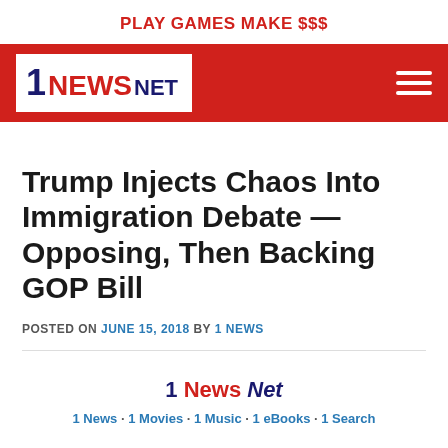PLAY GAMES MAKE $$$
[Figure (logo): 1 News Net logo on red header bar with hamburger menu icon]
Trump Injects Chaos Into Immigration Debate — Opposing, Then Backing GOP Bill
POSTED ON JUNE 15, 2018 BY 1 NEWS
1 News Net — 1 News · 1 Movies · 1 Music · 1 eBooks · 1 Search